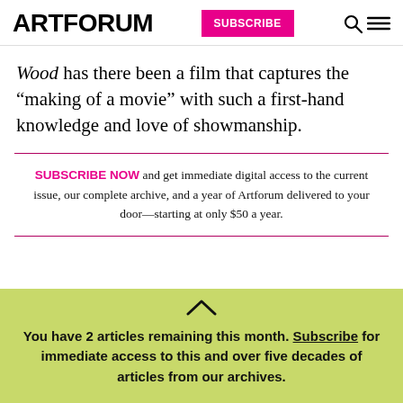ARTFORUM  SUBSCRIBE
Wood has there been a film that captures the “making of a movie” with such a first-hand knowledge and love of showmanship.
SUBSCRIBE NOW and get immediate digital access to the current issue, our complete archive, and a year of Artforum delivered to your door—starting at only $50 a year.
You have 2 articles remaining this month. Subscribe for immediate access to this and over five decades of articles from our archives.